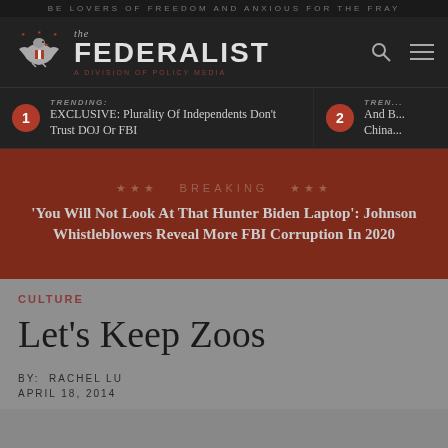BE LOVERS OF FREEDOM AND ANXIOUS FOR THE FRAY
[Figure (logo): The Federalist logo with eagle icon, site name 'the FEDERALIST' and tagline 'A DIVISION OF POLICY MEDIA']
TRENDING: EXCLUSIVE: Plurality Of Independents Don't Trust DOJ Or FBI
TREN... And B... China...
*** BREAKING *** 'You Will Not Look At That Hunter Biden Laptop': Johnson Whistleblowers Reveal More FBI Corruption In 2020
CULTURE
Let's Keep Zoos
BY:  RACHEL LU
APRIL 18, 2014